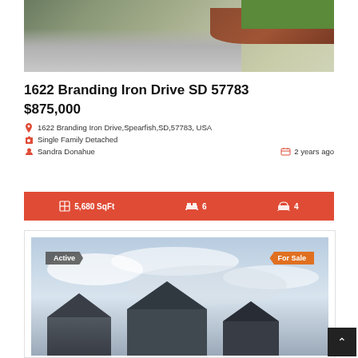[Figure (photo): Aerial/street view photo of property driveway with mulch landscaping and green grass]
1622 Branding Iron Drive SD 57783
$875,000
1622 Branding Iron Drive,Spearfish,SD,57783, USA
Single Family Detached
Sandra Donahue
2 years ago
5,680 SqFt  6  4
[Figure (photo): Street view photo of house under cloudy sky with Active and For Sale badges]